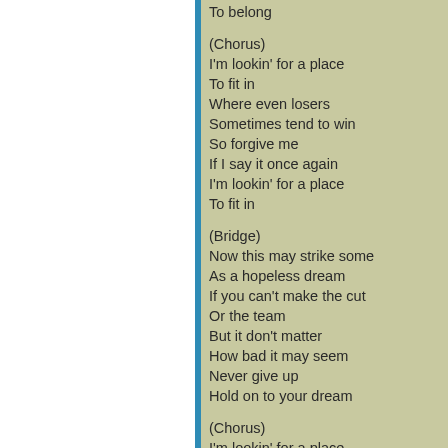To belong
(Chorus)
I'm lookin' for a place
To fit in
Where even losers
Sometimes tend to win
So forgive me
If I say it once again
I'm lookin' for a place
To fit in
(Bridge)
Now this may strike some
As a hopeless dream
If you can't make the cut
Or the team
But it don't matter
How bad it may seem
Never give up
Hold on to your dream
(Chorus)
I'm lookin' for a place
To fit in